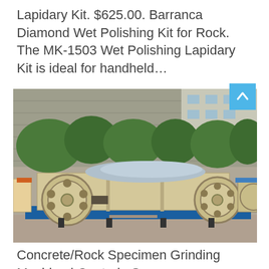Lapidary Kit. $625.00. Barranca Diamond Wet Polishing Kit for Rock. The MK-1503 Wet Polishing Lapidary Kit is ideal for handheld…
[Figure (photo): Photograph of a large industrial concrete/rock grinding machine placed outdoors on pavement. The machine is cream/beige colored with a blue base frame, featuring large flywheels and belt-drive mechanisms. Behind it is a concrete wall with vegetation and buildings.]
Concrete/Rock Specimen Grinding Machine | Controls Group